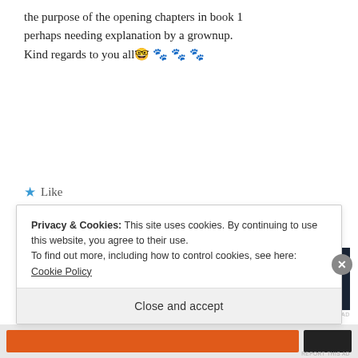the purpose of the opening chapters in book 1 perhaps needing explanation by a grownup. Kind regards to you all 🤓 🐾 🐾 🐾
★ Like
REPLY
[Figure (screenshot): Advertisement banner: 'The first rule of Startup School?' with dark banner showing 'Ask questions.' and WordPress logo]
REPORT THIS AD
Privacy & Cookies: This site uses cookies. By continuing to use this website, you agree to their use.
To find out more, including how to control cookies, see here: Cookie Policy
Close and accept